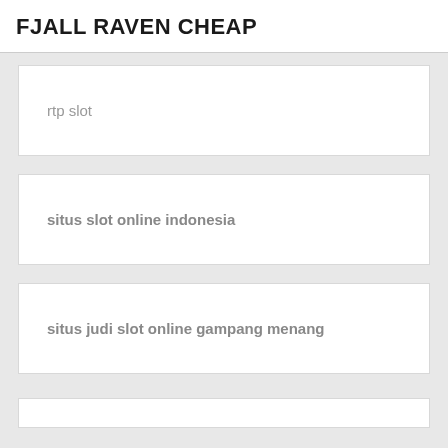FJALL RAVEN CHEAP
rtp slot
situs slot online indonesia
situs judi slot online gampang menang